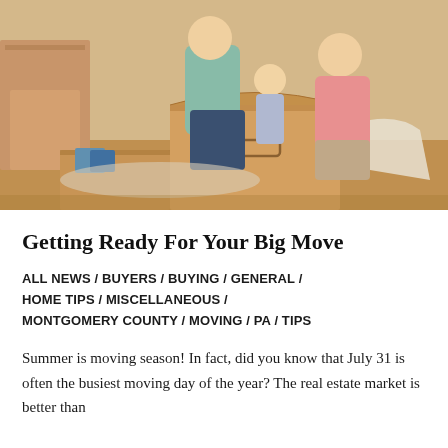[Figure (photo): A family of three (father, young daughter, mother) gathered around an open cardboard moving box on the floor, surrounded by stacked cardboard boxes in a room being packed for a move.]
Getting Ready For Your Big Move
ALL NEWS / BUYERS / BUYING / GENERAL / HOME TIPS / MISCELLANEOUS / MONTGOMERY COUNTY / MOVING / PA / TIPS
Summer is moving season! In fact, did you know that July 31 is often the busiest moving day of the year? The real estate market is better than